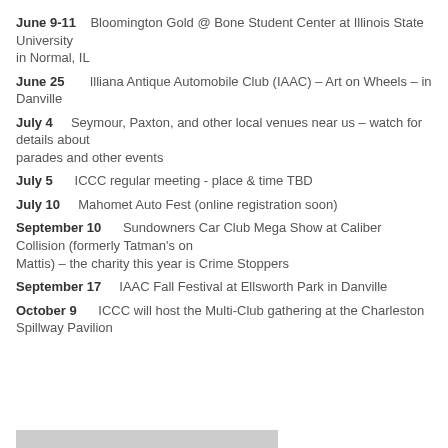June 9-11   Bloomington Gold @ Bone Student Center at Illinois State University in Normal, IL
June 25       Illiana Antique Automobile Club (IAAC) – Art on Wheels – in Danville
July 4    Seymour, Paxton, and other local venues near us – watch for details about parades and other events
July 5     ICCC regular meeting - place & time TBD
July 10    Mahomet Auto Fest (online registration soon)
September 10       Sundowners Car Club Mega Show at Caliber Collision (formerly Tatman's on Mattis) – the charity this year is Crime Stoppers
September 17    IAAC Fall Festival at Ellsworth Park in Danville
October 9       ICCC will host the Multi-Club gathering at the Charleston Spillway Pavilion